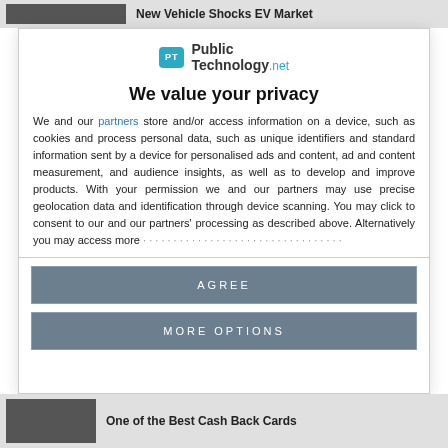New Vehicle Shocks EV Market
[Figure (logo): PublicTechnology.net logo with teal speech bubble icon containing 'PT']
We value your privacy
We and our partners store and/or access information on a device, such as cookies and process personal data, such as unique identifiers and standard information sent by a device for personalised ads and content, ad and content measurement, and audience insights, as well as to develop and improve products. With your permission we and our partners may use precise geolocation data and identification through device scanning. You may click to consent to our and our partners' processing as described above. Alternatively you may access more
AGREE
MORE OPTIONS
One of the Best Cash Back Cards